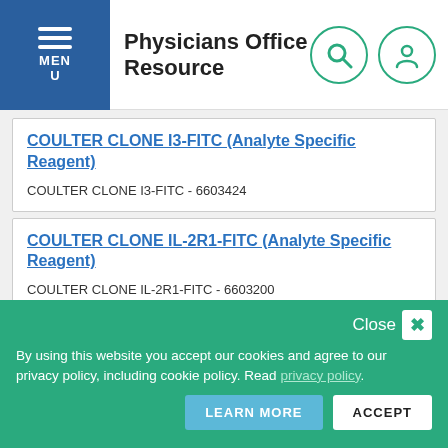Physicians Office Resource
COULTER CLONE I3-FITC (Analyte Specific Reagent)
COULTER CLONE I3-FITC - 6603424
COULTER CLONE IL-2R1-FITC (Analyte Specific Reagent)
COULTER CLONE IL-2R1-FITC - 6603200
COULTER CLONE KC56 (T-200)-RD1 (Analyte Specific Reagent)
COULTER CLONE KC56 (T-200)-RD1 - 6603839
By using this website you accept our cookies and agree to our privacy policy, including cookie policy. Read privacy policy. LEARN MORE ACCEPT